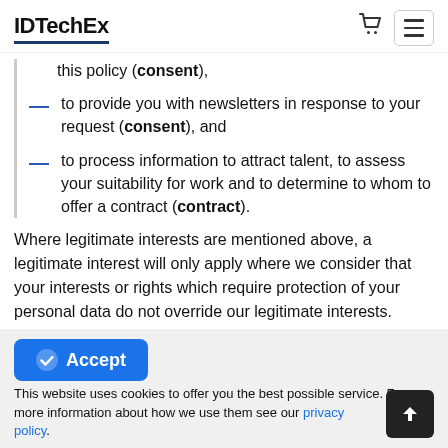IDTechEx
this policy (consent),
to provide you with newsletters in response to your request (consent), and
to process information to attract talent, to assess your suitability for work and to determine to whom to offer a contract (contract).
Where legitimate interests are mentioned above, a legitimate interest will only apply where we consider that your interests or rights which require protection of your personal data do not override our legitimate interests. Please contact our Privacy Officer by email via
This website uses cookies to offer you the best possible service. For more information about how we use them see our privacy policy.